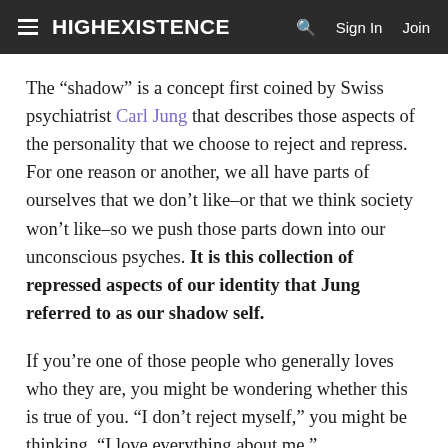HIGHEXISTENCE  Sign In  Join
The “shadow” is a concept first coined by Swiss psychiatrist Carl Jung that describes those aspects of the personality that we choose to reject and repress. For one reason or another, we all have parts of ourselves that we don’t like–or that we think society won’t like–so we push those parts down into our unconscious psyches. It is this collection of repressed aspects of our identity that Jung referred to as our shadow self.
If you’re one of those people who generally loves who they are, you might be wondering whether this is true of you. “I don’t reject myself,” you might be thinking. “I love everything about me.”